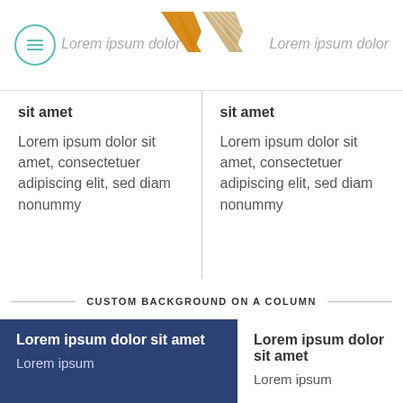Lorem ipsum dolor | Lorem ipsum dolor
[Figure (logo): Orange and tan double-chevron/W logo]
sit amet
Lorem ipsum dolor sit amet, consectetuer adipiscing elit, sed diam nonummy
sit amet
Lorem ipsum dolor sit amet, consectetuer adipiscing elit, sed diam nonummy
CUSTOM BACKGROUND ON A COLUMN
Lorem ipsum dolor sit amet
Lorem ipsum
Lorem ipsum dolor sit amet
Lorem ipsum